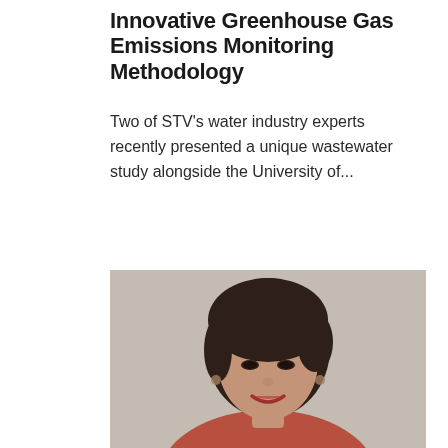Innovative Greenhouse Gas Emissions Monitoring Methodology
Two of STV's water industry experts recently presented a unique wastewater study alongside the University of...
[Figure (photo): Professional headshot photo of a woman with short dark hair, smiling, wearing earrings and a red top, against a neutral beige/taupe background.]